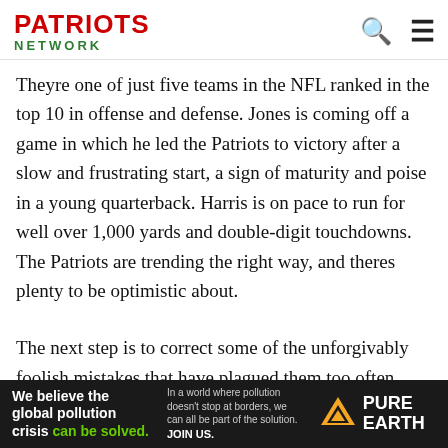PATRIOTS NETWORK
Theyre one of just five teams in the NFL ranked in the top 10 in offense and defense. Jones is coming off a game in which he led the Patriots to victory after a slow and frustrating start, a sign of maturity and poise in a young quarterback. Harris is on pace to run for well over 1,000 yards and double-digit touchdowns. The Patriots are trending the right way, and theres plenty to be optimistic about.
The next step is to correct some of the unforgivably foolish mistakes that have plagued them too often holding penalties, too-many-men-on-the-field blunders, timeouts wasted at inopportune times, and on occasion, some
[Figure (other): Pure Earth advertisement banner. Black background. Text: 'We believe the global pollution crisis can be solved.' with 'can be solved.' in green. Middle text: 'In a world where pollution doesn't stop at borders, we can all be part of the solution. JOIN US.' Right side: Pure Earth logo with diamond/arrow icon and 'PURE EARTH' text in white.]